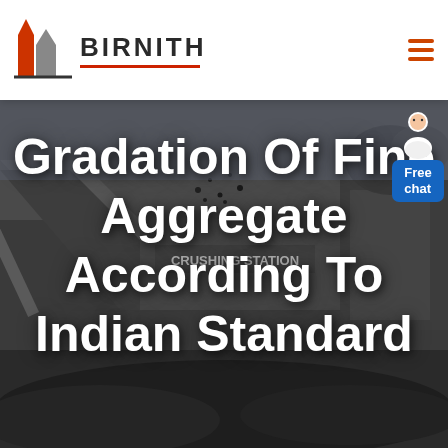BIRNITH
[Figure (screenshot): Industrial crushing station with heavy machinery and conveyor belts, dark/grey background photograph]
Gradation Of Fine Aggregate According To Indian Standard
[Figure (illustration): Free chat customer support avatar bubble in blue, top right corner]